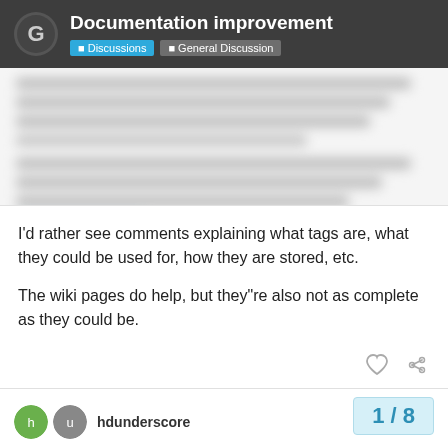Documentation improvement — Discussions | General Discussion
[Figure (other): Blurred/redacted text block showing a forum post with obscured content]
I'd rather see comments explaining what tags are, what they could be used for, how they are stored, etc.
The wiki pages do help, but they"re also not as complete as they could be.
hdunderscore — 1 / 8